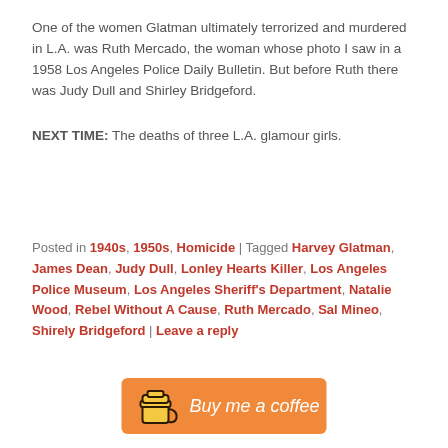One of the women Glatman ultimately terrorized and murdered in L.A. was Ruth Mercado, the woman whose photo I saw in a 1958 Los Angeles Police Daily Bulletin. But before Ruth there was Judy Dull and Shirley Bridgeford.
NEXT TIME: The deaths of three L.A. glamour girls.
Posted in 1940s, 1950s, Homicide | Tagged Harvey Glatman, James Dean, Judy Dull, Lonley Hearts Killer, Los Angeles Police Museum, Los Angeles Sheriff's Department, Natalie Wood, Rebel Without A Cause, Ruth Mercado, Sal Mineo, Shirely Bridgeford | Leave a reply
[Figure (other): Buy me a coffee orange button with coffee cup icon]